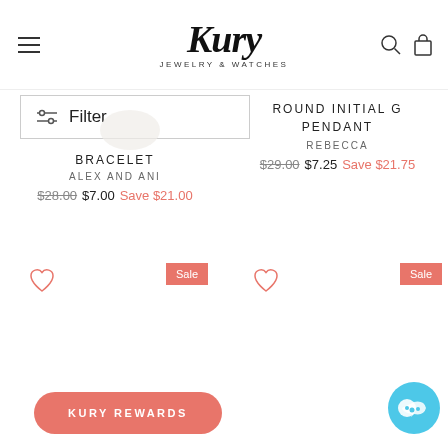[Figure (logo): Kury Jewelry & Watches logo with hamburger menu, search and cart icons]
Filter
BRACELET
ALEX AND ANI
$28.00  $7.00  Save $21.00
ROUND INITIAL G PENDANT
REBECCA
$29.00  $7.25  Save $21.75
KURY REWARDS